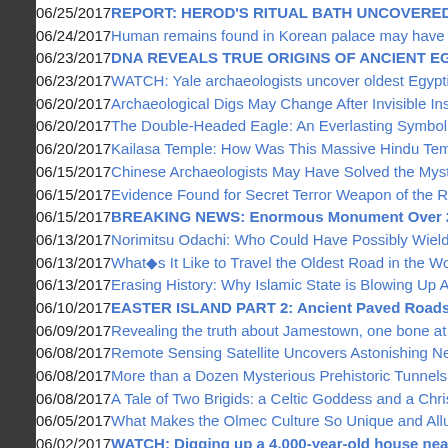06/25/2017 REPORT: HEROD'S RITUAL BATH UNCOVERED
06/24/2017 Human remains found in Korean palace may have be...
06/23/2017 DNA REVEALS TRUE ORIGINS OF ANCIENT EGYP...
06/23/2017 WATCH: Yale archaeologists uncover oldest Egyptian...
06/20/2017 Archaeological Digs May Change After Invisible Inscri...
06/20/2017 The Double-Headed Eagle: An Everlasting Symbol of...
06/20/2017 Kailasa Temple: How Was This Massive Hindu Temple...
06/15/2017 Chinese Archaeologists May Have Solved the Mystery...
06/15/2017 Evidence Found for Secret Terror Weapon of the Rom...
06/15/2017 BREAKING NEWS: Enormous Monument Over 2,000...
06/13/2017 Norimitsu Odachi: Who Could Have Possibly Wielded...
06/13/2017 What�s It Like to Travel the Oldest Road in the Worl...
06/13/2017 Erasing History: Why Islamic State is Blowing Up Anci...
06/10/2017 EASTER ISLAND PART 2: Ancient Paved Roads, Co...
06/09/2017 Revealing the truth about Jamestown, one bone at a t...
06/08/2017 Remote Sensing Satellite Uncovers Astonishing New...
06/08/2017 More than a Dozen Mysterious Prehistoric Tunnels in...
06/08/2017 A Tale of Two Brigids: a Celtic Goddess and a Christia...
06/05/2017 What Makes the Olmec Culture So Unique and Allurin...
06/02/2017 WATCH: Digging up a 4,000-year-old house near Jeru...
06/01/2017 Pensioner finds 2,300-Year-Old Pure Gold Crown Und...
06/01/2017 The sacred and magical sistrum of ancient Egypt
05/30/2017 Ancient Mound Excavation in Peru Leads to Ca...